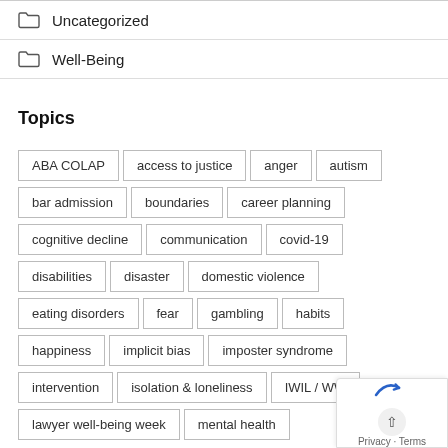Uncategorized
Well-Being
Topics
ABA COLAP
access to justice
anger
autism
bar admission
boundaries
career planning
cognitive decline
communication
covid-19
disabilities
disaster
domestic violence
eating disorders
fear
gambling
habits
happiness
implicit bias
imposter syndrome
intervention
isolation & loneliness
IWIL / WW
lawyer well-being week
mental health